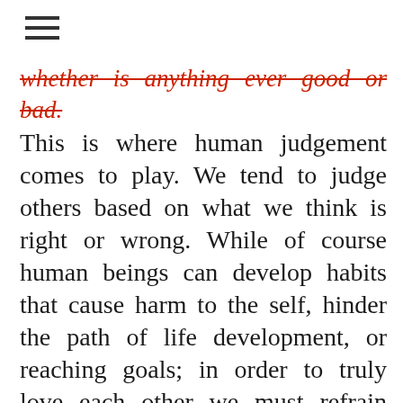≡
whether is anything ever good or bad. This is where human judgement comes to play. We tend to judge others based on what we think is right or wrong. While of course human beings can develop habits that cause harm to the self, hinder the path of life development, or reaching goals; in order to truly love each other we must refrain from the dichotomy of good / bad. What one views as "bad" cannot be fixed with a "bad" view. Lets imagine a simple electric circuit. There must be a positive (+) and a negative (-) charge for that circuit to function, however; the